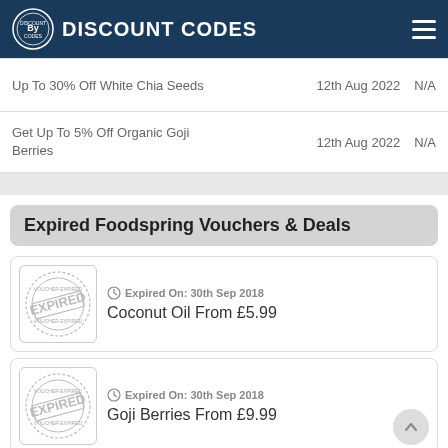DISCOUNT CODES
Up To 30% Off White Chia Seeds | 12th Aug 2022 | N/A
Get Up To 5% Off Organic Goji Berries | 12th Aug 2022 | N/A
Expired Foodspring Vouchers & Deals
Expired On: 30th Sep 2018 | Coconut Oil From £5.99
Expired On: 30th Sep 2018 | Goji Berries From £9.99